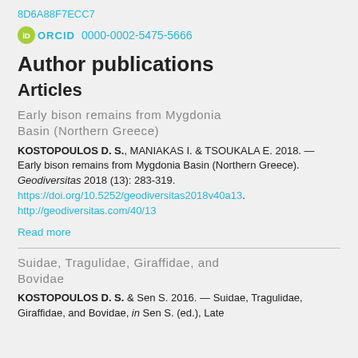8D6A88F7ECC7
ORCID 0000-0002-5475-5666
Author publications
Articles
Early bison remains from Mygdonia Basin (Northern Greece)
KOSTOPOULOS D. S., MANIAKAS I. & TSOUKALA E. 2018. — Early bison remains from Mygdonia Basin (Northern Greece). Geodiversitas 2018 (13): 283-319. https://doi.org/10.5252/geodiversitas2018v40a13. http://geodiversitas.com/40/13
Read more
Suidae, Tragulidae, Giraffidae, and Bovidae
KOSTOPOULOS D. S. & Sen S. 2016. — Suidae, Tragulidae, Giraffidae, and Bovidae, in Sen S. (ed.), Late